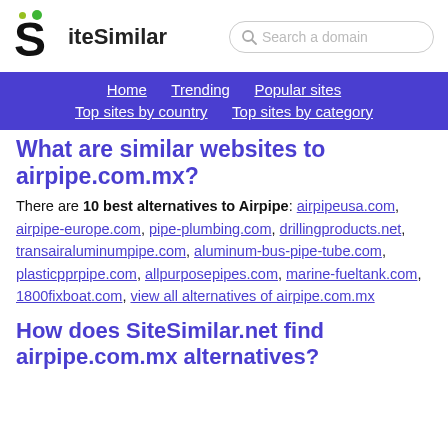SiteSimilar
Home  Trending  Popular sites  Top sites by country  Top sites by category
What are similar websites to airpipe.com.mx?
There are 10 best alternatives to Airpipe: airpipeusa.com, airpipe-europe.com, pipe-plumbing.com, drillingproducts.net, transairaluminumpipe.com, aluminum-bus-pipe-tube.com, plasticpprpipe.com, allpurposepipes.com, marine-fueltank.com, 1800fixboat.com, view all alternatives of airpipe.com.mx
How does SiteSimilar.net find airpipe.com.mx alternatives?